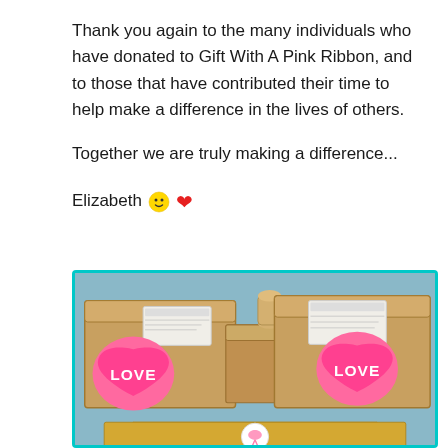Thank you again to the many individuals who have donated to Gift With A Pink Ribbon, and to those that have contributed their time to help make a difference in the lives of others.
Together we are truly making a difference...
Elizabeth 🙂 ❤
[Figure (photo): Photo of cardboard boxes with pink heart-shaped stickers that say LOVE on them, along with shipping labels. The boxes appear to be gift packages being prepared for donation.]